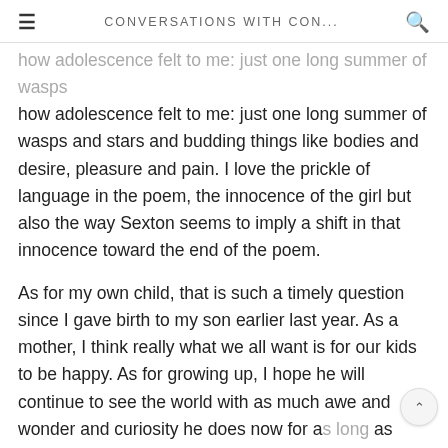CONVERSATIONS WITH CON...
how adolescence felt to me: just one long summer of wasps and stars and budding things like bodies and desire, pleasure and pain. I love the prickle of language in the poem, the innocence of the girl but also the way Sexton seems to imply a shift in that innocence toward the end of the poem.
As for my own child, that is such a timely question since I gave birth to my son earlier last year. As a mother, I think really what we all want is for our kids to be happy. As for growing up, I hope he will continue to see the world with as much awe and wonder and curiosity he does now for as long as possible.